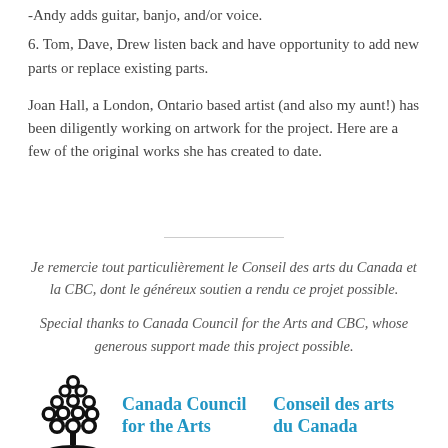-Andy adds guitar, banjo, and/or voice.
6. Tom, Dave, Drew listen back and have opportunity to add new parts or replace existing parts.
Joan Hall, a London, Ontario based artist (and also my aunt!) has been diligently working on artwork for the project. Here are a few of the original works she has created to date.
Je remercie tout particulièrement le Conseil des arts du Canada et la CBC, dont le généreux soutien a rendu ce projet possible.
Special thanks to Canada Council for the Arts and CBC, whose generous support made this project possible.
[Figure (logo): Canada Council for the Arts / Conseil des arts du Canada logo — a stylized tree above an oval shadow, with bilingual text in blue]